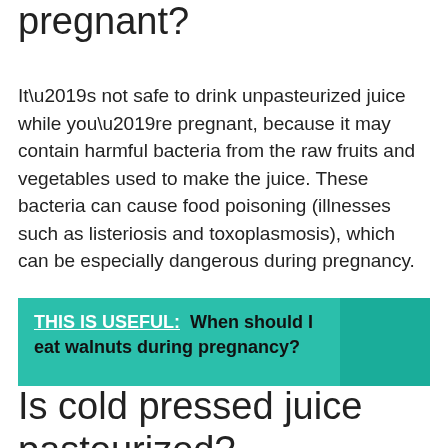pregnant?
It’s not safe to drink unpasteurized juice while you’re pregnant, because it may contain harmful bacteria from the raw fruits and vegetables used to make the juice. These bacteria can cause food poisoning (illnesses such as listeriosis and toxoplasmosis), which can be especially dangerous during pregnancy.
THIS IS USEFUL:  When should I eat walnuts during pregnancy?
Is cold pressed juice pasteurized?